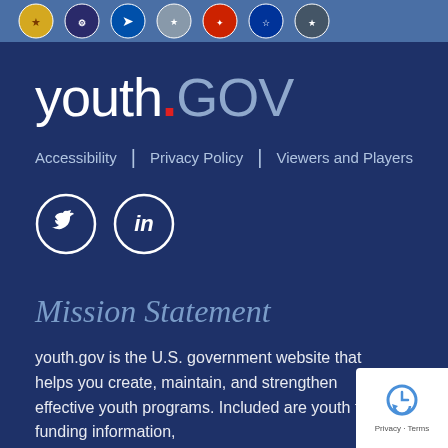[Figure (illustration): Row of US government agency seal/logo icons on a blue banner header]
youth.GOV
Accessibility | Privacy Policy | Viewers and Players
[Figure (illustration): Twitter and LinkedIn social media icons (white circles with bird and 'in' symbols)]
Mission Statement
youth.gov is the U.S. government website that helps you create, maintain, and strengthen effective youth programs. Included are youth facts, funding information,